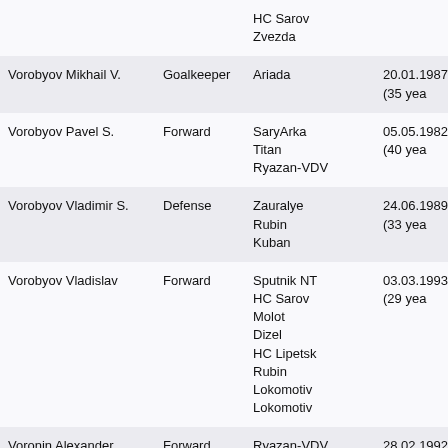| Name | Position | Clubs | Date of Birth |
| --- | --- | --- | --- |
|  |  | HC Sarov
Zvezda |  |
| Vorobyov Mikhail V. | Goalkeeper | Ariada | 20.01.1987 (35 yea |
| Vorobyov Pavel S. | Forward | SaryArka
Titan
Ryazan-VDV | 05.05.1982 (40 yea |
| Vorobyov Vladimir S. | Defense | Zauralye
Rubin
Kuban | 24.06.1989 (33 yea |
| Vorobyov Vladislav | Forward | Sputnik NT
HC Sarov
Molot
Dizel
HC Lipetsk
Rubin
Lokomotiv
Lokomotiv | 03.03.1993 (29 yea |
| Voronin Alexander | Forward | Ryazan-VDV
Tsen Tou
SaryArka
Yuzhny Ural | 28.02.1992 (30 yea |
| Voronin Artyom |  | Ugra |  |